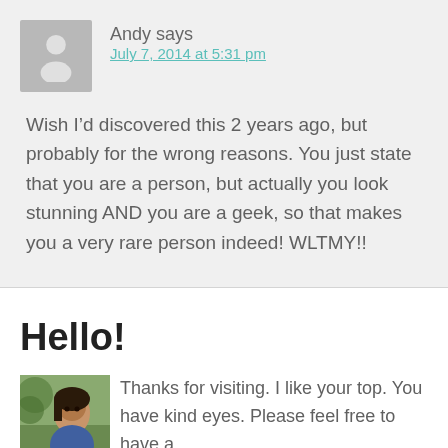Andy says
July 7, 2014 at 5:31 pm
Wish I’d discovered this 2 years ago, but probably for the wrong reasons. You just state that you are a person, but actually you look stunning AND you are a geek, so that makes you a very rare person indeed! WLTMY!!
Hello!
Thanks for visiting. I like your top. You have kind eyes. Please feel free to have a